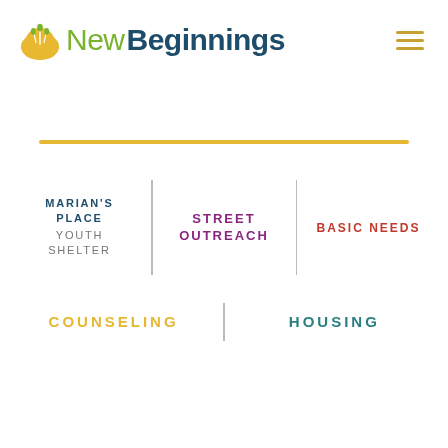[Figure (logo): New Beginnings organization logo with wheat/plant icon in gold/green and text 'New Beginnings' in green and dark teal]
MARIAN'S PLACE YOUTH SHELTER
STREET OUTREACH
BASIC NEEDS
COUNSELING
HOUSING